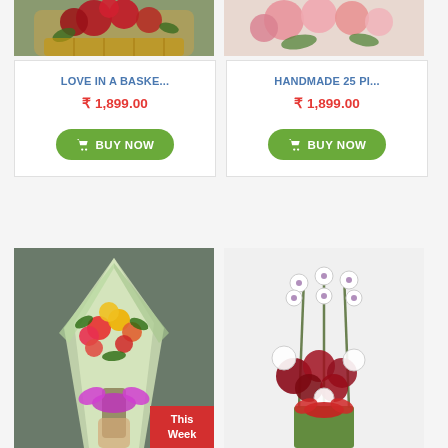[Figure (photo): Partially visible photo of red roses in a wicker basket arrangement at top left]
[Figure (photo): Partially visible photo of pink/peach roses arrangement at top right]
LOVE IN A BASKE...
₹ 1,899.00
BUY NOW
HANDMADE 25 PI...
₹ 1,899.00
BUY NOW
[Figure (photo): Photo of colorful mixed roses bouquet wrapped in green paper, held by hand, with a red This Week badge]
[Figure (photo): Photo of white orchids and red chrysanthemums arrangement tied with red ribbon]